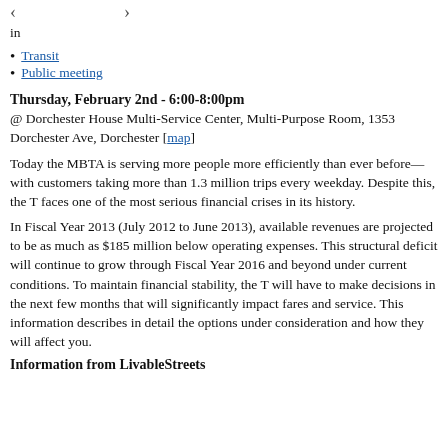< >
in
Transit
Public meeting
Thursday, February 2nd - 6:00-8:00pm
@ Dorchester House Multi-Service Center, Multi-Purpose Room, 1353 Dorchester Ave, Dorchester [map]
Today the MBTA is serving more people more efficiently than ever before—with customers taking more than 1.3 million trips every weekday. Despite this, the T faces one of the most serious financial crises in its history.
In Fiscal Year 2013 (July 2012 to June 2013), available revenues are projected to be as much as $185 million below operating expenses. This structural deficit will continue to grow through Fiscal Year 2016 and beyond under current conditions. To maintain financial stability, the T will have to make decisions in the next few months that will significantly impact fares and service. This information describes in detail the options under consideration and how they will affect you.
Information from LivableStreets